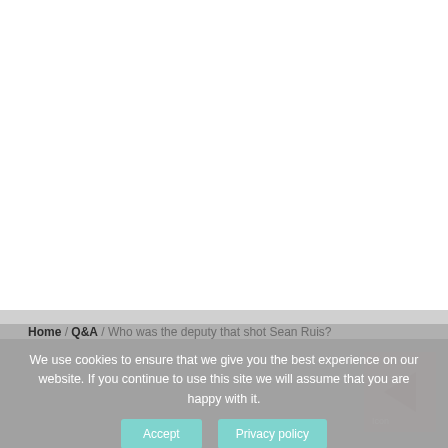Home / Q&A / Who was the deputy that shot Sean Ruis?
We use cookies to ensure that we give you the best experience on our website. If you continue to use this site we will assume that you are happy with it.
Accept   Privacy policy